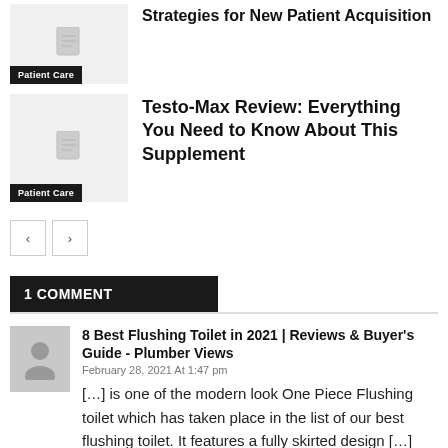[Figure (photo): Article thumbnail placeholder with document icon and Patient Care badge]
Strategies for New Patient Acquisition
[Figure (photo): Article thumbnail placeholder with document icon and Patient Care badge]
Testo-Max Review: Everything You Need to Know About This Supplement
Pagination controls with previous and next buttons
1 COMMENT
[Figure (photo): Avatar placeholder showing user silhouette icon]
8 Best Flushing Toilet in 2021 | Reviews & Buyer's Guide - Plumber Views
February 28, 2021 At 1:47 pm
[...] is one of the modern look One Piece Flushing toilet which has taken place in the list of our best flushing toilet. It features a fully skirted design [...]